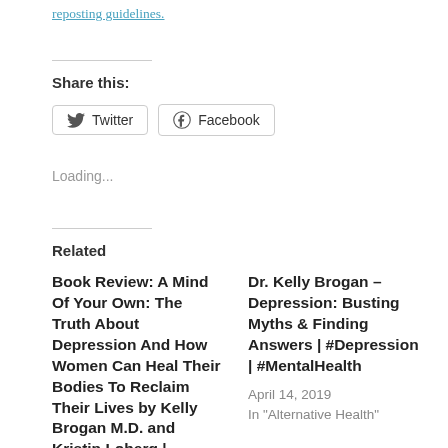reposting guidelines.
Share this:
Twitter  Facebook
Loading...
Related
Book Review: A Mind Of Your Own: The Truth About Depression And How Women Can Heal Their Bodies To Reclaim Their Lives by Kelly Brogan M.D. and Kristin Loberg | #SmartReads #MentalHealth
Dr. Kelly Brogan – Depression: Busting Myths & Finding Answers | #Depression | #MentalHealth
April 14, 2019
In "Alternative Health"